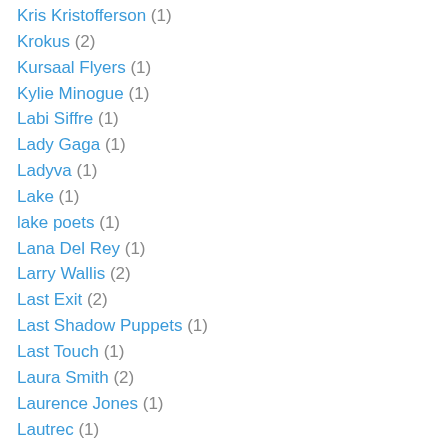Kris Kristofferson (1)
Krokus (2)
Kursaal Flyers (1)
Kylie Minogue (1)
Labi Siffre (1)
Lady Gaga (1)
Ladyva (1)
Lake (1)
lake poets (1)
Lana Del Rey (1)
Larry Wallis (2)
Last Exit (2)
Last Shadow Puppets (1)
Last Touch (1)
Laura Smith (2)
Laurence Jones (1)
Lautrec (1)
Led Zeppelin (8)
Lee Memphis King (1)
Lena Lovich (1)